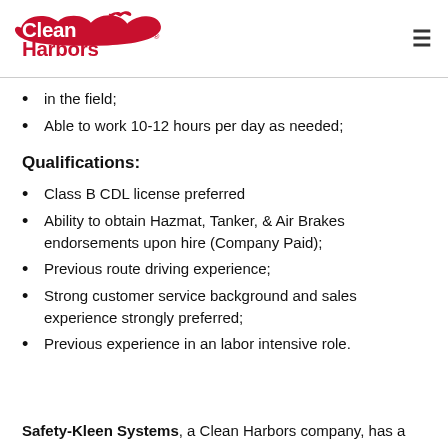CleanHarbors
in the field;
Able to work 10-12 hours per day as needed;
Qualifications:
Class B CDL license preferred
Ability to obtain Hazmat, Tanker, & Air Brakes endorsements upon hire (Company Paid);
Previous route driving experience;
Strong customer service background and sales experience strongly preferred;
Previous experience in an labor intensive role.
Safety-Kleen Systems, a Clean Harbors company, has a